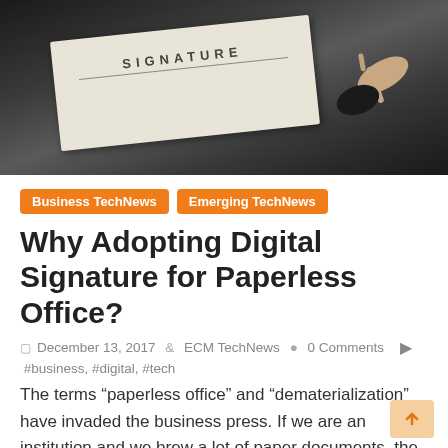[Figure (photo): A close-up photo of a document with 'SIGNATURE' printed on it, with a hand holding a pen about to sign.]
Business TechNews  Emerging TechNews
Why Adopting Digital Signature for Paperless Office?
December 13, 2017  ECM TechNews  0 Comments  #business, #digital, #tech
The terms “paperless office” and “dematerialization” have invaded the business press. If we are an institution and we brew a lot of paper documents, the idea of dematerialization can be either seductive or leave us skeptical. What